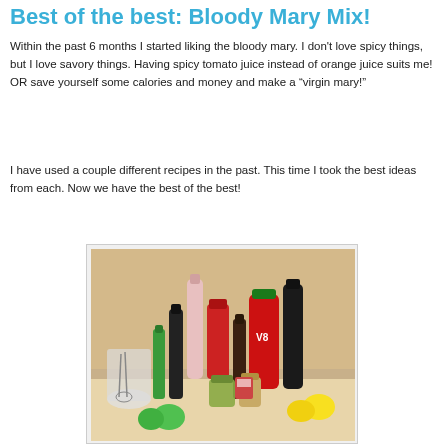Best of the best: Bloody Mary Mix!
Within the past 6 months I started liking the bloody mary. I don't love spicy things, but I love savory things. Having spicy tomato juice instead of orange juice suits me! OR save yourself some calories and money and make a “virgin mary!”
I have used a couple different recipes in the past. This time I took the best ideas from each. Now we have the best of the best!
[Figure (photo): Photo of various Bloody Mary mix ingredients laid out on a counter: jars of spices, V8 juice, hot sauce, olives, limes, lemons, a whisk in a measuring cup, and other condiment bottles.]